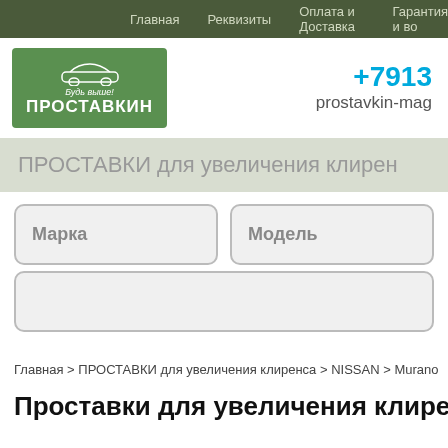Главная   Реквизиты   Оплата и Доставка   Гарантия и во
[Figure (logo): Проставкин logo — green background with car silhouette, 'Будь выше!' slogan, and ПРОСТАВКИН text]
+7913
prostavkin-mag
ПРОСТАВКИ для увеличения клирен
Марка
Модель
Главная > ПРОСТАВКИ для увеличения клиренса > NISSAN > Murano
Проставки для увеличения клиренса